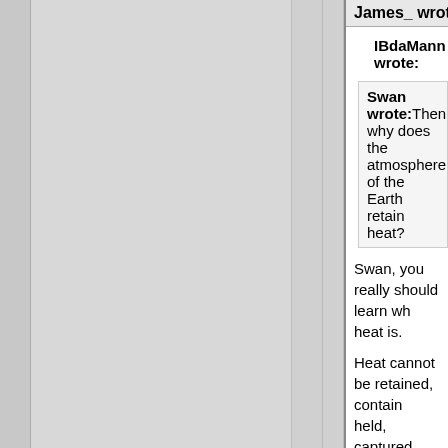James_ wrote:
IBdaMann wrote:
Swan wrote: Then why does the atmosphere of the Earth retain heat?
Swan, you really should learn what heat is.
Heat cannot be retained, contained, held, captured, imprisoned or sto...
Whoever baffled you with Global Warming booolsch't was merely manipulating you by your inability to call him/her/them on his/her/their booolsch't.
The atmosphere is part of the ea... is pointless to discuss only the atmosphere without including the lithosphere and the hydrosphere. When you discuss the planet as whole, it is in equilibrium; at any moment, just as much energy is leaving the planet as is being...